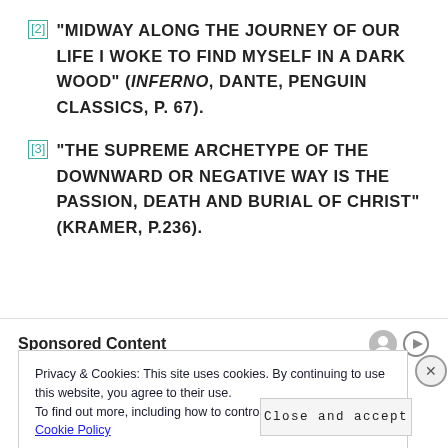[2] “MIDWAY ALONG THE JOURNEY OF OUR LIFE I WOKE TO FIND MYSELF IN A DARK WOOD” (INFERNO, DANTE, PENGUIN CLASSICS, P. 67).
[3] “THE SUPREME ARCHETYPE OF THE DOWNWARD OR NEGATIVE WAY IS THE PASSION, DEATH AND BURIAL OF CHRIST” (KRAMER, P.236).
Sponsored Content
Privacy & Cookies: This site uses cookies. By continuing to use this website, you agree to their use. To find out more, including how to control cookies, see here: Cookie Policy